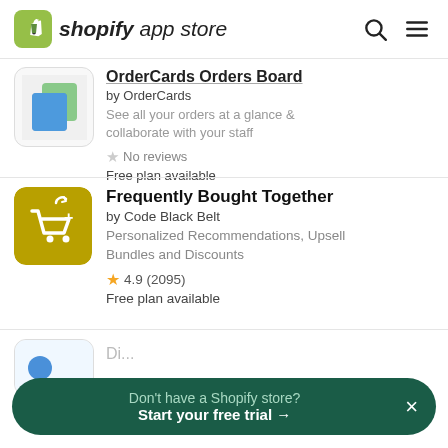shopify app store
OrderCards Orders Board
by OrderCards
See all your orders at a glance & collaborate with your staff
No reviews
Free plan available
Frequently Bought Together
by Code Black Belt
Personalized Recommendations, Upsell Bundles and Discounts
4.9 (2095)
Free plan available
Don't have a Shopify store? Start your free trial →